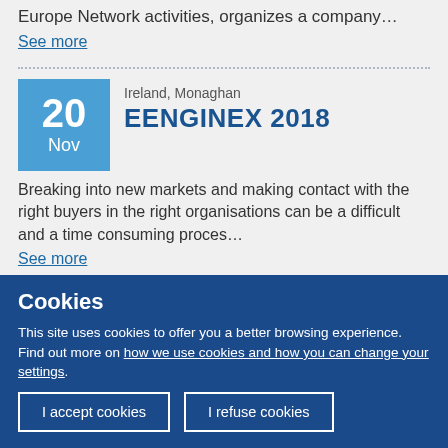Europe Network activities, organizes a company…
See more
Ireland, Monaghan
EENGINEX 2018
Breaking into new markets and making contact with the right buyers in the right organisations can be a difficult and a time consuming proces…
See more
Cookies
This site uses cookies to offer you a better browsing experience. Find out more on how we use cookies and how you can change your settings.
I accept cookies
I refuse cookies